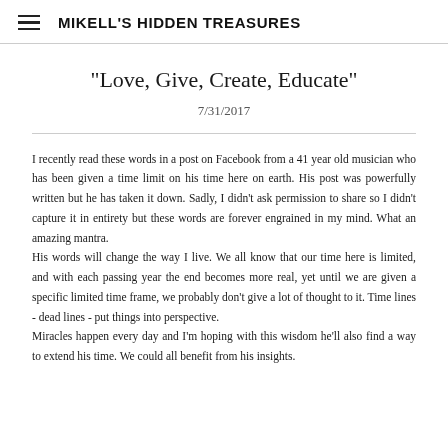MIKELL'S HIDDEN TREASURES
"Love, Give, Create, Educate"
7/31/2017
I recently read these words in a post on Facebook from a 41 year old musician who has been given a time limit on his time here on earth. His post was powerfully written but he has taken it down. Sadly, I didn't ask permission to share so I didn't capture it in entirety but these words are forever engrained in my mind. What an amazing mantra.
His words will change the way I live. We all know that our time here is limited, and with each passing year the end becomes more real, yet until we are given a specific limited time frame, we probably don't give a lot of thought to it. Time lines - dead lines - put things into perspective.
Miracles happen every day and I'm hoping with this wisdom he'll also find a way to extend his time. We could all benefit from his insights.